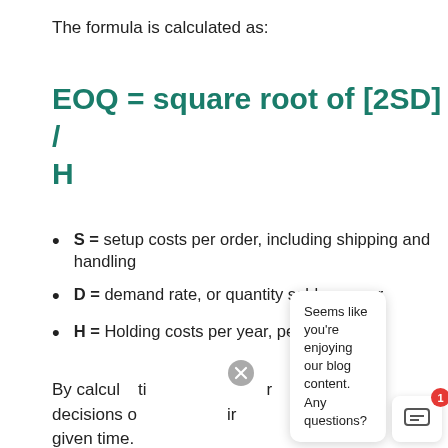The formula is calculated as:
S = setup costs per order, including shipping and handling
D = demand rate, or quantity sold per year
H = Holding costs per year, per unit
By calculating the EOQ, businesses can make better decisions on how much inventory to order at any given time.